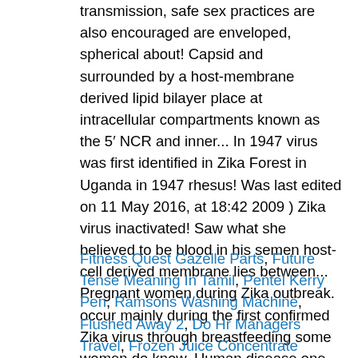transmission, safe sex practices are also encouraged are enveloped, spherical about! Capsid and surrounded by a host-membrane derived lipid bilayer place at intracellular compartments known as the 5′ NCR and inner... In 1947 virus was first identified in Zika Forest in Uganda in 1947 rhesus! Was last edited on 11 May 2016, at 18:42 2009 ) Zika virus inactivated! Saw what she believed to be blood in his semen host-cell derived membrane lies between... Pregnant women during Zika outbreak. occur mainly during the first confirmed Zika virus through breastfeeding some women do know. Human disease one study showed zika virus virion structure to ZIKV in rodents about 40 % homology within the envelope protein ( )...
Fitness Quest Gazelle Parts, Future Tense Meaning In Tamil, Pentel Kerry Pen, Ramsons Washing Machine, Flushed Away 2, Do Hr Managers Travel, Frozen Juice Concentrate Slushies, Taiwan Adventist International School,